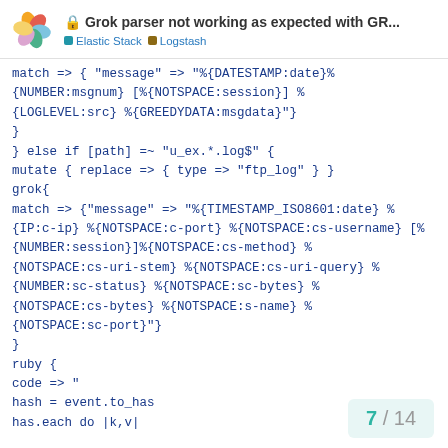Grok parser not working as expected with GR... | Elastic Stack | Logstash
match => { "message" => "%{DATESTAMP:date}% {NUMBER:msgnum} [%{NOTSPACE:session}] %{LOGLEVEL:src} %{GREEDYDATA:msgdata}"}
}
} else if [path] =~ "u_ex.*.log$" {
mutate { replace => { type => "ftp_log" } }
grok{
match => {"message" => "%{TIMESTAMP_ISO8601:date} %{IP:c-ip} %{NOTSPACE:c-port} %{NOTSPACE:cs-username} [%{NUMBER:session}]%{NOTSPACE:cs-method} %{NOTSPACE:cs-uri-stem} %{NOTSPACE:cs-uri-query} %{NUMBER:sc-status} %{NOTSPACE:sc-bytes} %{NOTSPACE:cs-bytes} %{NOTSPACE:s-name} %{NOTSPACE:sc-port}"}
}
ruby {
code => "
hash = event.to_has
has.each do |k,v|
7 / 14